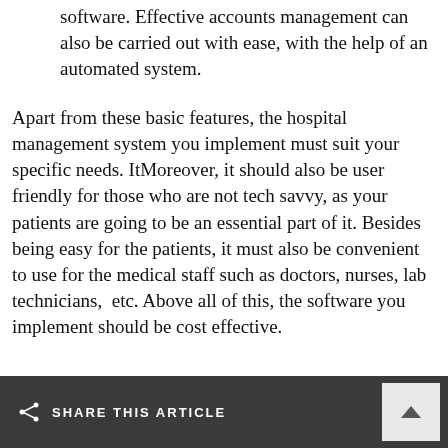software. Effective accounts management can also be carried out with ease, with the help of an automated system.
Apart from these basic features, the hospital management system you implement must suit your specific needs. ItMoreover, it should also be user friendly for those who are not tech savvy, as your patients are going to be an essential part of it. Besides being easy for the patients, it must also be convenient to use for the medical staff such as doctors, nurses, lab technicians,  etc. Above all of this, the software you implement should be cost effective.
SHARE THIS ARTICLE